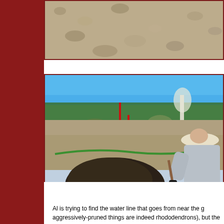[Figure (photo): Partial view of gravel or crushed rock material, top portion of a photo cut off at page boundary]
[Figure (photo): Outdoor photo showing a person working with a shovel near a large mound of dark soil/dirt. Red stakes are visible in the ground, a green hose is laid across the gravel, and shrubs and trees are visible in the background under a clear blue sky.]
Al is trying to find the water line that goes from near the g aggressively-pruned things are indeed rhododendrons), but the